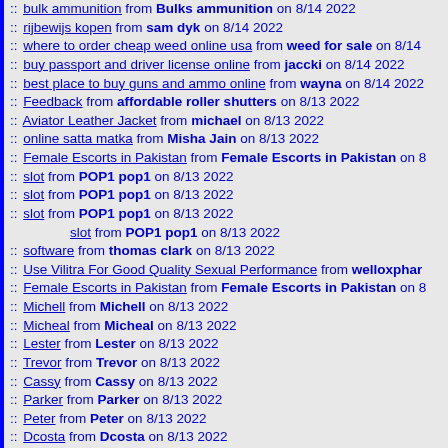:: bulk ammunition from Bulks ammunition on 8/14 2022
:: rijbewijs kopen from sam dyk on 8/14 2022
:: where to order cheap weed online usa from weed for sale on 8/14
:: buy passport and driver license online from jaccki on 8/14 2022
:: best place to buy guns and ammo online from wayna on 8/14 2022
:: Feedback from affordable roller shutters on 8/13 2022
:: Aviator Leather Jacket from michael on 8/13 2022
:: online satta matka from Misha Jain on 8/13 2022
:: Female Escorts in Pakistan from Female Escorts in Pakistan on 8/
:: slot from POP1 pop1 on 8/13 2022
:: slot from POP1 pop1 on 8/13 2022
:: slot from POP1 pop1 on 8/13 2022
slot from POP1 pop1 on 8/13 2022
:: software from thomas clark on 8/13 2022
:: Use Vilitra For Good Quality Sexual Performance from welloxphar
:: Female Escorts in Pakistan from Female Escorts in Pakistan on 8/
:: Michell from Michell on 8/13 2022
:: Micheal from Micheal on 8/13 2022
:: Lester from Lester on 8/13 2022
:: Trevor from Trevor on 8/13 2022
:: Cassy from Cassy on 8/13 2022
:: Parker from Parker on 8/13 2022
:: Peter from Peter on 8/13 2022
:: Dcosta from Dcosta on 8/13 2022
:: Tom from Tom on 8/13 2022
:: Jerry from Jerry on 8/13 2022
:: Glass company in Dubai from Dubai glass works on 8/13 2022
:: Glass company in Dubai from Dubai glass works on 8/13 2022
:: Escort in Connaught Place from shivanisharma on 8/13 2022
:: Escort in Delhi from shivanisharma on 8/13 2022
:: Call Girl Mumbai from shivanisharma on 8/13 2022